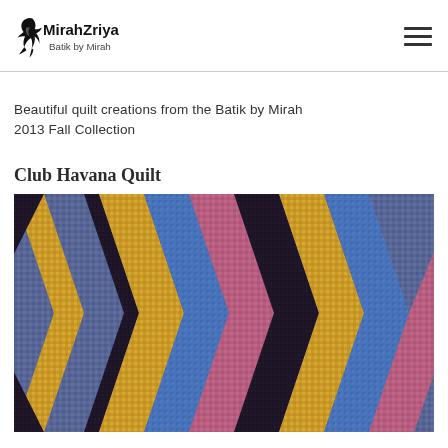MirahZriya — Batik by Mirah
Beautiful quilt creations from the Batik by Mirah 2013 Fall Collection
Club Havana Quilt
[Figure (photo): Close-up photo of a colorful chevron/herringbone pattern quilt using batik fabrics in gold, blue, purple, and pink tones from the Batik by Mirah 2013 Fall Collection]